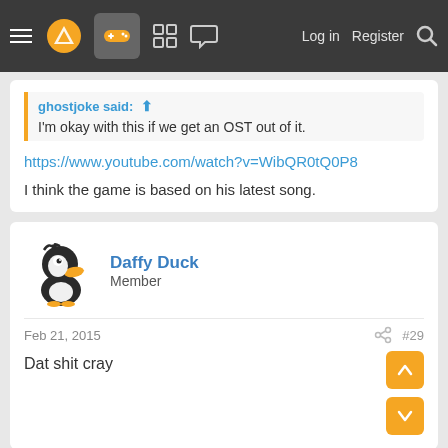Navigation bar: hamburger menu, logo, gamepad icon (active), grid icon, chat icon, Log in, Register, Search
ghostjoke said: ↑
I'm okay with this if we get an OST out of it.
https://www.youtube.com/watch?v=WibQR0tQ0P8
I think the game is based on his latest song.
Daffy Duck
Member
Feb 21, 2015  #29
Dat shit cray
jaynab